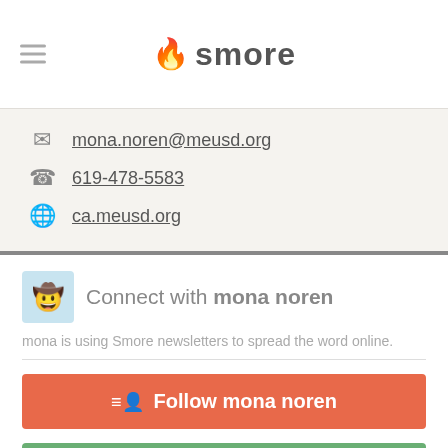smore
mona.noren@meusd.org
619-478-5583
ca.meusd.org
Connect with mona noren
mona is using Smore newsletters to spread the word online.
Follow mona noren
Contact mona noren